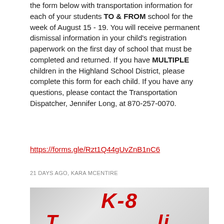the form below with transportation information for each of your students TO & FROM school for the week of August 15 - 19. You will receive permanent dismissal information in your child's registration paperwork on the first day of school that must be completed and returned. If you have MULTIPLE children in the Highland School District, please complete this form for each child. If you have any questions, please contact the Transportation Dispatcher, Jennifer Long, at 870-257-0070.
https://forms.gle/Rzt1Q44gUvZnB1nC6
21 DAYS AGO, KARA MCENTIRE
[Figure (photo): Gray gradient background image with red italic bold text reading 'K-8' at the top and partial text below it (cut off at bottom of page)]